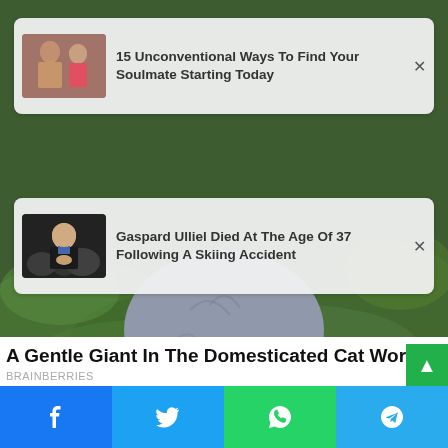[Figure (photo): Background image of a large grey cat sitting on green grass/foliage, showing the body and paws of the cat from behind]
[Figure (photo): Ad card 1: thumbnail of a muscular man and woman in fitness/couple pose; headline: 15 Unconventional Ways To Find Your Soulmate Starting Today]
15 Unconventional Ways To Find Your Soulmate Starting Today
[Figure (photo): Ad card 2: thumbnail of a young man (Gaspard Ulliel) at a public event; headline: Gaspard Ulliel Died At The Age Of 37 Following A Skiing Accident]
Gaspard Ulliel Died At The Age Of 37 Following A Skiing Accident
A Gentle Giant In The Domesticated Cat World
BRAINBERRIES